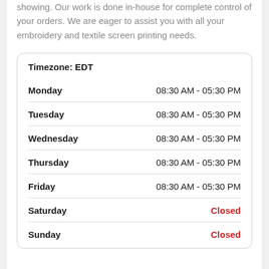showing. Our work is done in-house for complete control of your orders. We are eager to assist you with all your embroidery and textile screen printing needs.
| Day | Hours |
| --- | --- |
| Timezone: EDT |  |
| Monday | 08:30 AM - 05:30 PM |
| Tuesday | 08:30 AM - 05:30 PM |
| Wednesday | 08:30 AM - 05:30 PM |
| Thursday | 08:30 AM - 05:30 PM |
| Friday | 08:30 AM - 05:30 PM |
| Saturday | Closed |
| Sunday | Closed |